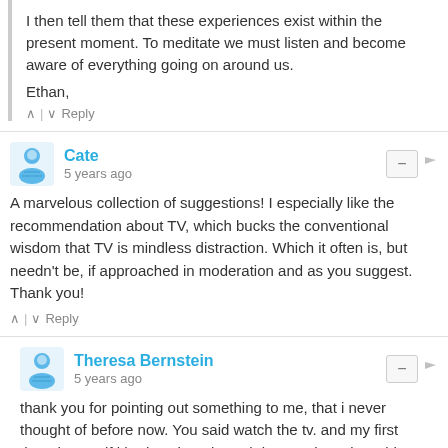I then tell them that these experiences exist within the present moment. To meditate we must listen and become aware of everything going on around us.
Ethan,
^ | v  Reply
Cate
5 years ago
A marvelous collection of suggestions! I especially like the recommendation about TV, which bucks the conventional wisdom that TV is mindless distraction. Which it often is, but needn't be, if approached in moderation and as you suggest. Thank you!
^ | v  Reply
Theresa Bernstein
5 years ago
thank you for pointing out something to me, that i never thought of before now. You said watch the tv. and my first thought was if i had to sit and watch it most times i would turn it off because i am more interested in the art i am making. so there is my